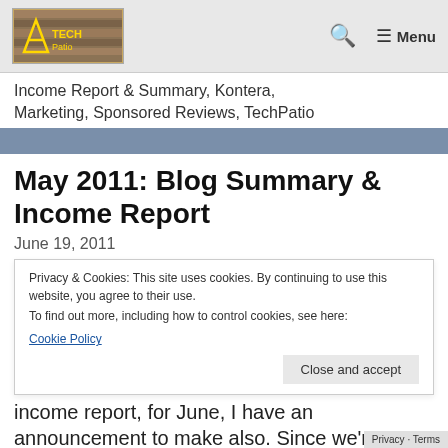TechPatio logo, search icon, Menu
Income Report & Summary, Kontera, Marketing, Sponsored Reviews, TechPatio
May 2011: Blog Summary & Income Report
June 19, 2011
Privacy & Cookies: This site uses cookies. By continuing to use this website, you agree to their use.
To find out more, including how to control cookies, see here:
Cookie Policy
income report, for June, I have an announcement to make also. Since we're